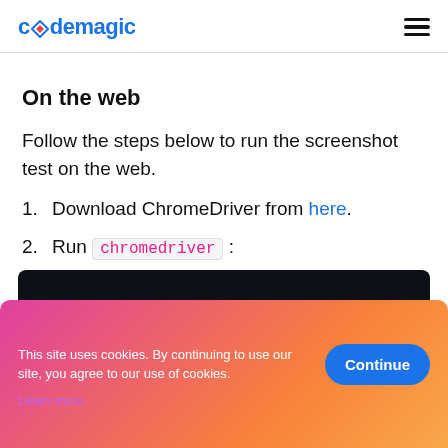codemagic
On the web
Follow the steps below to run the screenshot test on the web.
1. Download ChromeDriver from here.
2. Run chromedriver :
3. Run the test using the following
This site uses cookies. By continuing to use our site, you agree to our use of cookies. Learn more